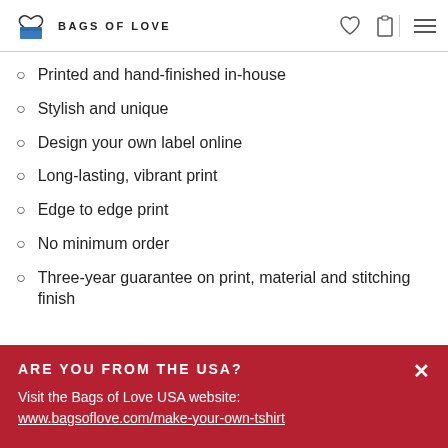BAGS OF LOVE
Printed and hand-finished in-house
Stylish and unique
Design your own label online
Long-lasting, vibrant print
Edge to edge print
No minimum order
Three-year guarantee on print, material and stitching finish
ARE YOU FROM THE USA?
Visit the Bags of Love USA website:
www.bagsoflove.com/make-your-own-tshirt